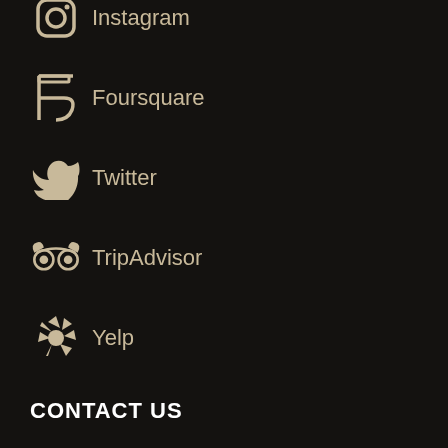Instagram
Foursquare
Twitter
TripAdvisor
Yelp
CONTACT US
Phone
(609) 823-7310
Fax